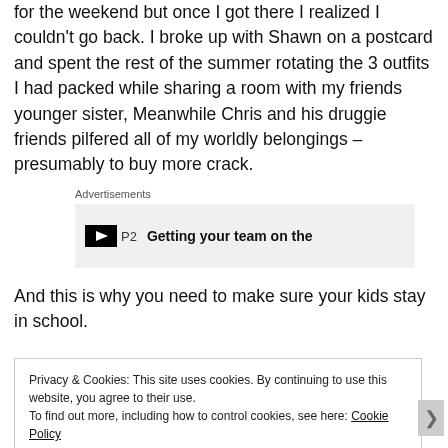for the weekend but once I got there I realized I couldn't go back. I broke up with Shawn on a postcard and spent the rest of the summer rotating the 3 outfits I had packed while sharing a room with my friends younger sister, Meanwhile Chris and his druggie friends pilfered all of my worldly belongings – presumably to buy more crack.
[Figure (other): Advertisement block with logo icon, 'P2' text, and partial bold text 'Getting your team on the']
And this is why you need to make sure your kids stay in school.
Privacy & Cookies: This site uses cookies. By continuing to use this website, you agree to their use. To find out more, including how to control cookies, see here: Cookie Policy